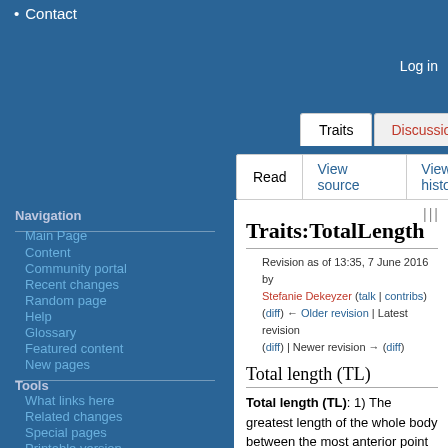Contact
Log in
Traits | Discussion | Read | View source | View history | Search Marin
Navigation
Main Page
Content
Community portal
Recent changes
Random page
Help
Glossary
Featured content
New pages
Tools
What links here
Related changes
Special pages
Printable version
Traits:TotalLength
Revision as of 13:35, 7 June 2016 by Stefanie Dekeyzer (talk | contribs) (diff) ← Older revision | Latest revision (diff) | Newer revision → (diff)
Total length (TL)
Total length (TL): 1) The greatest length of the whole body between the most anterior point of the body and the most posterior point, in a straight line, not over the curve of